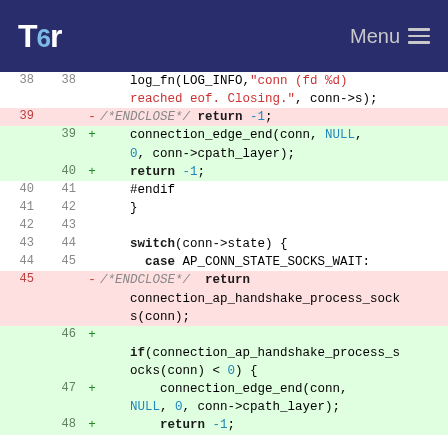Tor Menu
[Figure (screenshot): Code diff view showing changes to a C source file in the Tor project. Lines 38-48 show a diff with removals (red background) and additions (green background). The diff modifies handling of connection_edge_end, adding proper error handling for connection_ap_handshake_process_socks.]